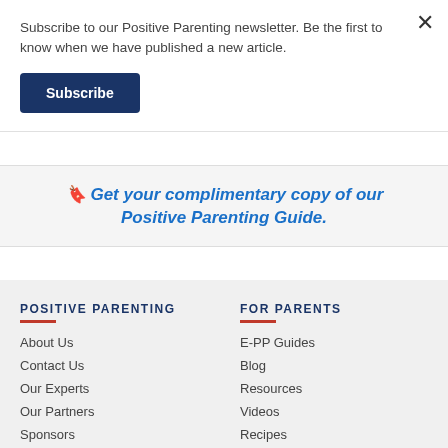Subscribe to our Positive Parenting newsletter. Be the first to know when we have published a new article.
Subscribe
Get your complimentary copy of our Positive Parenting Guide.
POSITIVE PARENTING
About Us
Contact Us
Our Experts
Our Partners
Sponsors
FOR PARENTS
E-PP Guides
Blog
Resources
Videos
Recipes
Events